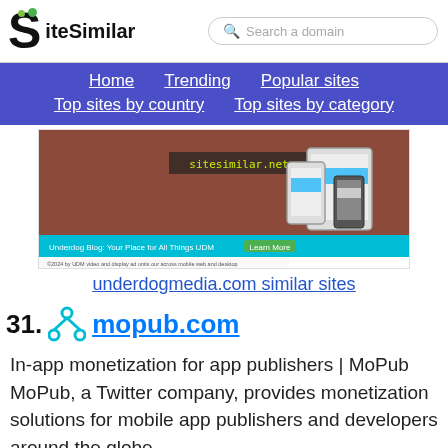SiteSimilar | Search a domain
Home | Trending | Popular sites | Top sites by country | Top sites by category
[Figure (screenshot): Screenshot of underdogmedia.com website showing mobile/tablet device mockups and a banner reading 'Underdog Blog: Your Place for All Things UDM Learn More']
underdogmedia.com similar sites
31. mopub.com
In-app monetization for app publishers | MoPub MoPub, a Twitter company, provides monetization solutions for mobile app publishers and developers around the globe.